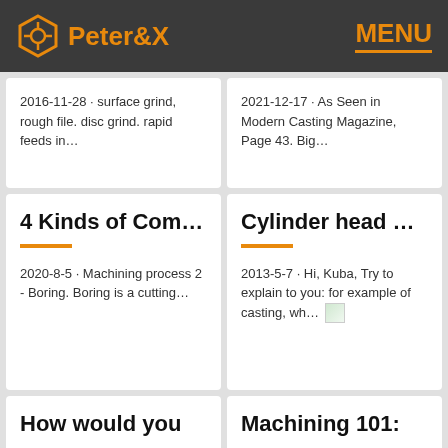Peter&X | MENU
2016-11-28 · surface grind, rough file. disc grind. rapid feeds in…
2021-12-17 · As Seen in Modern Casting Magazine, Page 43. Big…
4 Kinds of Com…
2020-8-5 · Machining process 2 - Boring. Boring is a cutting…
Cylinder head …
2013-5-7 · Hi, Kuba, Try to explain to you: for example of casting, wh…
How would you
Machining 101: